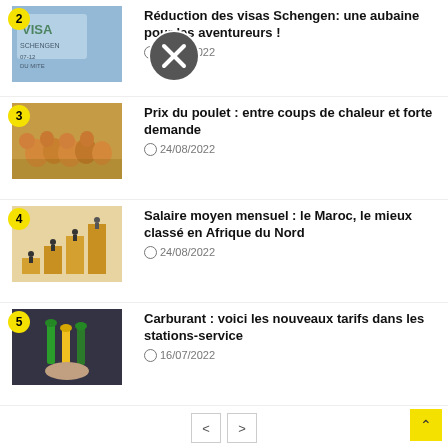2 — Réduction des visas Schengen: une aubaine pour les aventureurs ! — 23/08/2022
3 — Prix du poulet: entre coups de chaleur et forte demande — 24/08/2022
4 — Salaire moyen mensuel : le Maroc, le mieux classé en Afrique du Nord — 24/08/2022
5 — Carburant : voici les nouveaux tarifs dans les stations-service — 16/07/2022
Retrouvez-nous sur Facebook